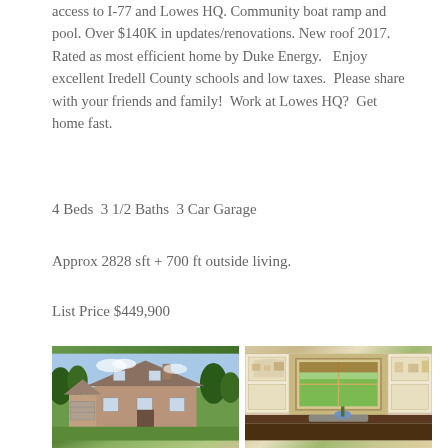access to I-77 and Lowes HQ. Community boat ramp and pool. Over $140K in updates/renovations. New roof 2017. Rated as most efficient home by Duke Energy.   Enjoy excellent Iredell County schools and low taxes.  Please share with your friends and family!  Work at Lowes HQ?  Get home fast.
4 Beds  3 1/2 Baths  3 Car Garage
Approx 2828 sft + 700 ft outside living.
List Price $449,900
[Figure (photo): Exterior photo of a two-story brick home with large green lawn and trees]
[Figure (photo): Interior kitchen photo showing white cabinetry, open shelving, and a window with green view]